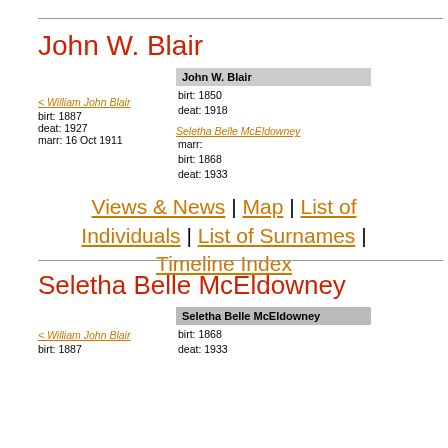John W. Blair
John W. Blair
birt: 1850
deat: 1918
< William John Blair
birt: 1887
deat: 1927
marr: 16 Oct 1911
Seletha Belle McEldowney
marr:
birt: 1868
deat: 1933
Views & News | Map | List of Individuals | List of Surnames | Timeline Index
Seletha Belle McEldowney
Seletha Belle McEldowney
birt: 1868
deat: 1933
< William John Blair
birt: 1887